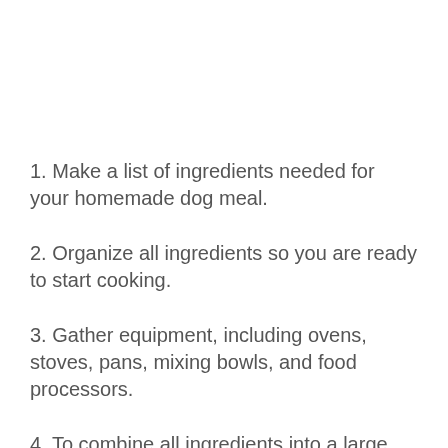1. Make a list of ingredients needed for your homemade dog meal.
2. Organize all ingredients so you are ready to start cooking.
3. Gather equipment, including ovens, stoves, pans, mixing bowls, and food processors.
4. To combine all ingredients into a large mixing bowl, follow the appropriate recipe for your dog’s age and weight. Mix well with a spoon or electric mixer to ensure an even consistency. Ensure there are no lumps, as you